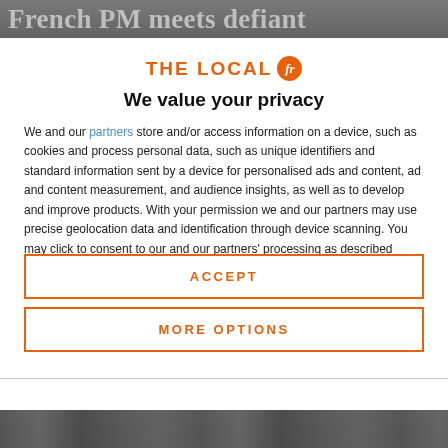[Figure (screenshot): Blurred newspaper headline background image at top reading 'French PM meets defiant']
THE LOCAL fr
We value your privacy
We and our partners store and/or access information on a device, such as cookies and process personal data, such as unique identifiers and standard information sent by a device for personalised ads and content, ad and content measurement, and audience insights, as well as to develop and improve products. With your permission we and our partners may use precise geolocation data and identification through device scanning. You may click to consent to our and our partners' processing as described above. Alternatively you may access more detailed information and change your preferences before consenting
ACCEPT
MORE OPTIONS
[Figure (photo): Bottom strip showing partial photo, dark tones]